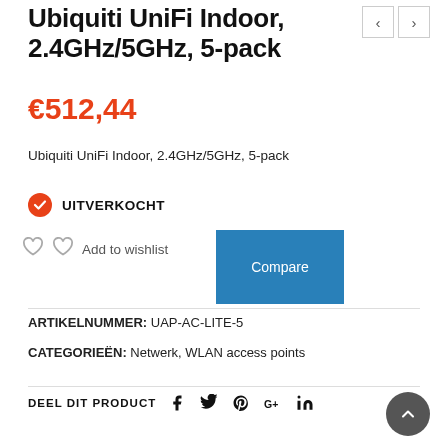Ubiquiti UniFi Indoor, 2.4GHz/5GHz, 5-pack
€512,44
Ubiquiti UniFi Indoor, 2.4GHz/5GHz, 5-pack
UITVERKOCHT
Add to wishlist
Compare
ARTIKELNUMMER: UAP-AC-LITE-5
CATEGORIEËN: Netwerk, WLAN access points
DEEL DIT PRODUCT